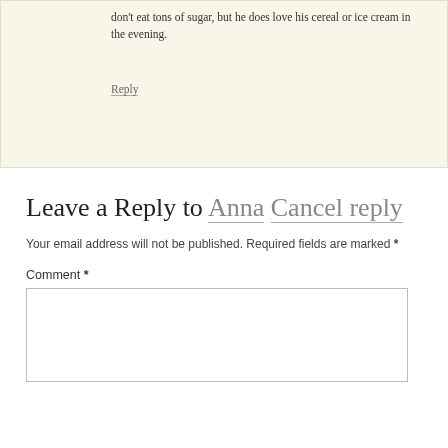don't eat tons of sugar, but he does love his cereal or ice cream in the evening.
Reply
Leave a Reply to Anna Cancel reply
Your email address will not be published. Required fields are marked *
Comment *